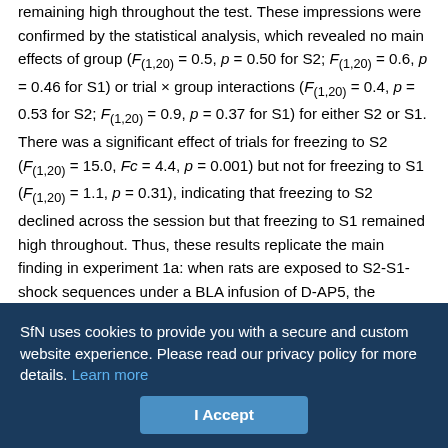remaining high throughout the test. These impressions were confirmed by the statistical analysis, which revealed no main effects of group (F(1,20) = 0.5, p = 0.50 for S2; F(1,20) = 0.6, p = 0.46 for S1) or trial × group interactions (F(1,20) = 0.4, p = 0.53 for S2; F(1,20) = 0.9, p = 0.37 for S1) for either S2 or S1. There was a significant effect of trials for freezing to S2 (F(1,20) = 15.0, Fc = 4.4, p = 0.001) but not for freezing to S1 (F(1,20) = 1.1, p = 0.31), indicating that freezing to S2 declined across the session but that freezing to S1 remained high throughout. Thus, these results replicate the main finding in experiment 1a: when rats are exposed to S2-S1-shock sequences under a BLA infusion of D-AP5, the acquisition of fear to S2 is spared among rats that have been previously conditioned to fear S1 (i.e., previously exposed to S1-shock pairings). More
SfN uses cookies to provide you with a secure and custom website experience. Please read our privacy policy for more details. Learn more